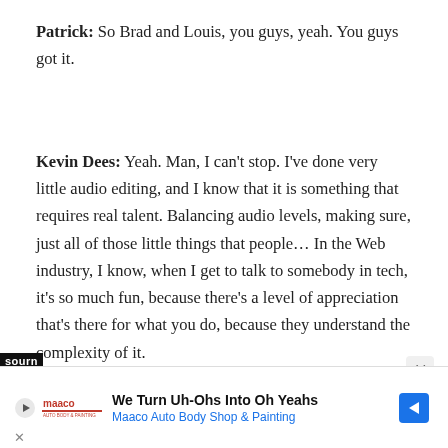Patrick: So Brad and Louis, you guys, yeah. You guys got it.
Kevin Dees: Yeah. Man, I can't stop. I've done very little audio editing, and I know that it is something that requires real talent. Balancing audio levels, making sure, just all of those little things that people… In the Web industry, I know, when I get to talk to somebody in tech, it's so much fun, because there's a level of appreciation that's there for what you do, because they understand the complexity of it.
...I think the same goes for what you do in
[Figure (screenshot): Advertisement banner: We Turn Uh-Ohs Into Oh Yeahs - Maaco Auto Body Shop & Painting with logo and arrow icon]